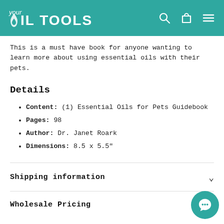your OIL TOOLS
This is a must have book for anyone wanting to learn more about using essential oils with their pets.
Details
Content: (1) Essential Oils for Pets Guidebook
Pages: 98
Author: Dr. Janet Roark
Dimensions: 8.5 x 5.5"
Shipping information
Wholesale Pricing